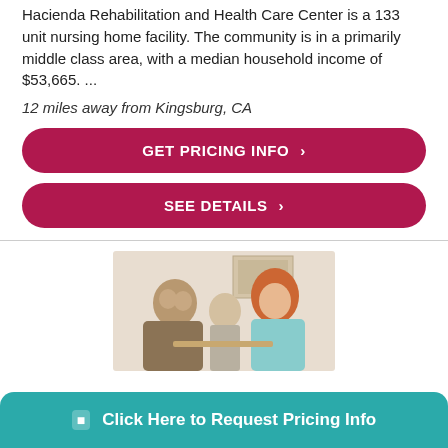Hacienda Rehabilitation and Health Care Center is a 133 unit nursing home facility. The community is in a primarily middle class area, with a median household income of $53,665. ...
12 miles away from Kingsburg, CA
GET PRICING INFO ›
SEE DETAILS ›
[Figure (photo): Photo of elderly woman talking with a younger red-haired woman, with other people in the background, in a care facility setting]
Click Here to Request Pricing Info